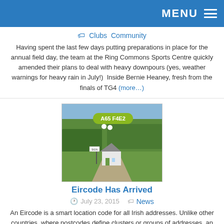MENU ☰
Clubs  Community
Having spent the last few days putting preparations in place for the annual field day, the team at the Ring Commons Sports Centre quickly amended their plans to deal with heavy downpours (yes, weather warnings for heavy rain in July!)  Inside Bernie Heaney, fresh from the finals of TG4 (more…)
[Figure (photo): Aerial/landscape photo of Irish countryside with a white cottage house and a road sign. An overlay shows an Eircode label 'A65 F4E2' in a green rounded rectangle with white location pin icons.]
Eircode Has Arrived
July 23, 2015
News
An Eircode is a smart location code for all Irish addresses. Unlike other countries, where postcodes define clusters or groups of addresses, an Eircode will identify an individual address – rural or urban – and help show exactly where it is located. This means every residential address and business (more…)